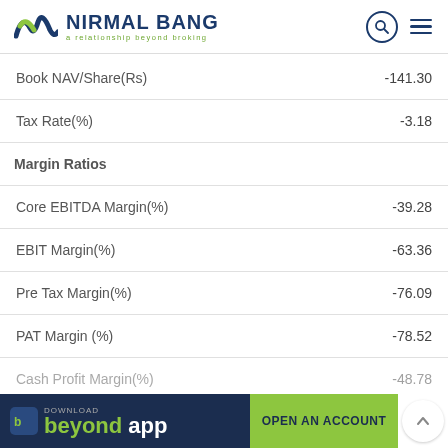[Figure (logo): Nirmal Bang logo with tagline 'a relationship beyond broking']
| Metric | Value |
| --- | --- |
| Book NAV/Share(Rs) | -141.30 |
| Tax Rate(%) | -3.18 |
| Margin Ratios |  |
| Core EBITDA Margin(%) | -39.28 |
| EBIT Margin(%) | -63.36 |
| Pre Tax Margin(%) | -76.09 |
| PAT Margin (%) | -78.52 |
| Cash Profit Margin(%) | -48.78 |
[Figure (screenshot): Download Beyond App banner and Open An Account button at the bottom]